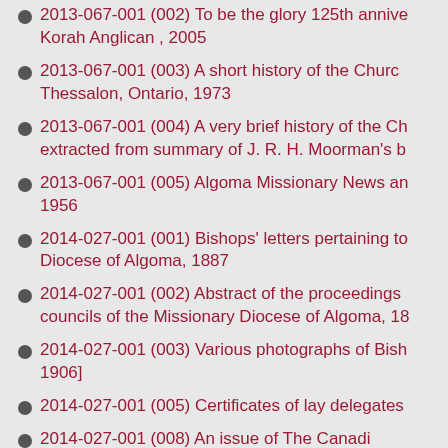2013-067-001 (002) To be the glory 125th anniversary Korah Anglican , 2005
2013-067-001 (003) A short history of the Church Thessalon, Ontario, 1973
2013-067-001 (004) A very brief history of the Ch extracted from summary of J. R. H. Moorman's b
2013-067-001 (005) Algoma Missionary News an 1956
2014-027-001 (001) Bishops' letters pertaining to Diocese of Algoma, 1887
2014-027-001 (002) Abstract of the proceedings councils of the Missionary Diocese of Algoma, 18
2014-027-001 (003) Various photographs of Bish 1906]
2014-027-001 (005) Certificates of lay delegates
2014-027-001 (008) An issue of The Canadian